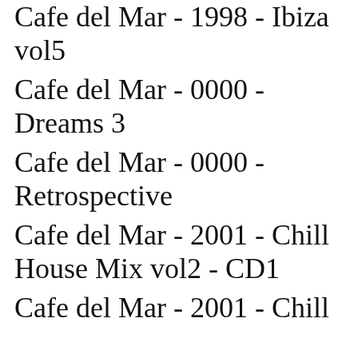Cafe del Mar - 1998 - Ibiza vol5
Cafe del Mar - 0000 - Dreams 3
Cafe del Mar - 0000 - Retrospective
Cafe del Mar - 2001 - Chill House Mix vol2 - CD1
Cafe del Mar - 2001 - Chill